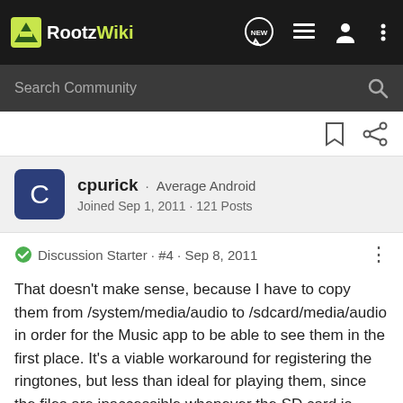RootzWiki
Search Community
cpurick · Average Android
Joined Sep 1, 2011 · 121 Posts
Discussion Starter · #4 · Sep 8, 2011
That doesn't make sense, because I have to copy them from /system/media/audio to /sdcard/media/audio in order for the Music app to be able to see them in the first place. It's a viable workaround for registering the ringtones, but less than ideal for playing them, since the files are inaccessible whenever the SD card is shared out to the PC.